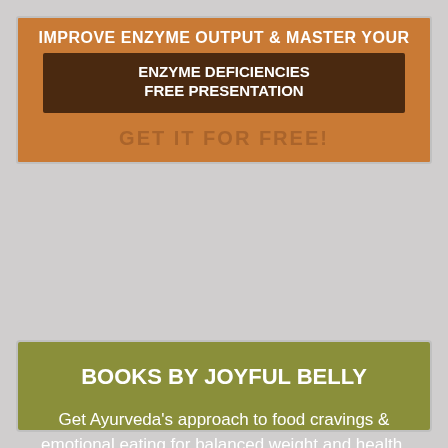IMPROVE ENZYME OUTPUT & MASTER YOUR DIGESTION
ENZYME DEFICIENCIES FREE PRESENTATION
GET IT FOR FREE!
BOOKS BY JOYFUL BELLY
Get Ayurveda's approach to food cravings & emotional eating for balanced weight and health.
GET THE BOOK